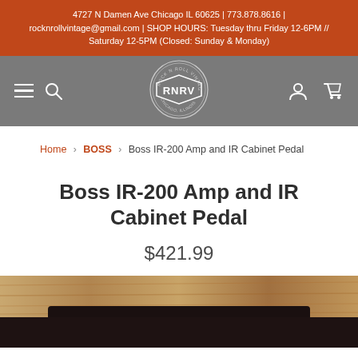4727 N Damen Ave Chicago IL 60625 | 773.878.8616 | rocknrollvintage@gmail.com | SHOP HOURS: Tuesday thru Friday 12-6PM // Saturday 12-5PM (Closed: Sunday & Monday)
[Figure (logo): Rock N Roll Vintage (RNRV) circular logo badge in white on grey navigation bar, with hamburger menu and search icon on the left, user account and cart icons on the right]
Home > BOSS > Boss IR-200 Amp and IR Cabinet Pedal
Boss IR-200 Amp and IR Cabinet Pedal
$421.99
[Figure (photo): Partial blurred photo of a guitar effects pedal (Boss IR-200) shown at the bottom of the page]